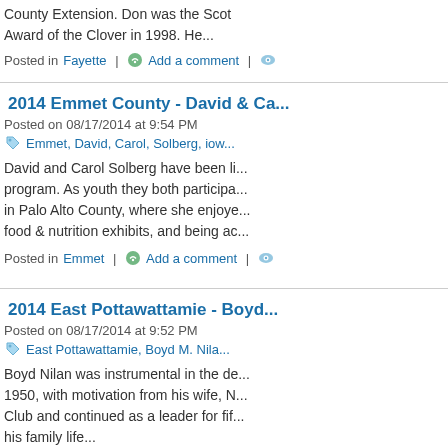County Extension. Don was the Scot... Award of the Clover in 1998. He...
Posted in Fayette | Add a comment |
2014 Emmet County - David & Ca...
Posted on 08/17/2014 at 9:54 PM
Emmet, David, Carol, Solberg, iow...
David and Carol Solberg have been li... program. As youth they both participa... in Palo Alto County, where she enjoye... food & nutrition exhibits, and being ac...
Posted in Emmet | Add a comment |
2014 East Pottawattamie - Boyd...
Posted on 08/17/2014 at 9:52 PM
East Pottawattamie, Boyd M. Nila...
Boyd Nilan was instrumental in the de... 1950, with motivation from his wife, N... Club and continued as a leader for fif... his family life...
Posted in Pottawattamie (East) | Add a c...
2014 Dubuque County - Betty Pi...
Posted on 08/17/2014 at 9:45 PM